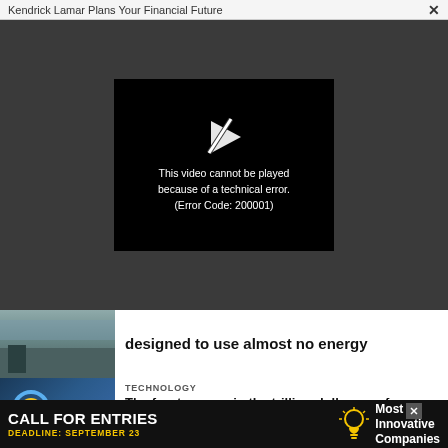Kendrick Lamar Plans Your Financial Future  ×
[Figure (screenshot): Video player showing error: 'This video cannot be played because of a technical error. (Error Code: 200001)']
designed to use almost no energy
TECHNOLOGY
The frontrunners in the trillion-dollar race for limitless fusion
[Figure (photo): City street scene]
[Figure (photo): Fusion reactor interior with yellow and blue machinery]
[Figure (advertisement): Ad banner: CALL FOR ENTRIES - DEADLINE: SEPTEMBER 23 - Most Innovative Companies]